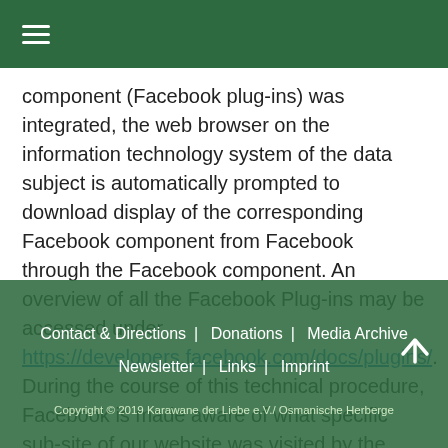≡ (hamburger menu)
component (Facebook plug-ins) was integrated, the web browser on the information technology system of the data subject is automatically prompted to download display of the corresponding Facebook component from Facebook through the Facebook component. An overview of all the Facebook Plug-ins may be accessed under https://developers.facebook.com/docs/plugins/. During the course of this technical procedure, Facebook is made aware of what specific sub-site of our website was visited by the data subject.

If the data subject is logged in at the same time on Facebook, Facebook detects with the
Contact & Directions | Donations | Media Archive | Newsletter | Links | Imprint
Copyright © 2019 Karawane der Liebe e.V./ Osmanische Herberge